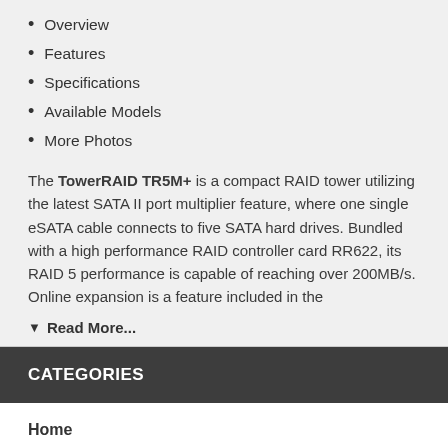Overview
Features
Specifications
Available Models
More Photos
The TowerRAID TR5M+ is a compact RAID tower utilizing the latest SATA II port multiplier feature, where one single eSATA cable connects to five SATA hard drives. Bundled with a high performance RAID controller card RR622, its RAID 5 performance is capable of reaching over 200MB/s. Online expansion is a feature included in the
▼ Read More...
CATEGORIES
Home
2.5" ACCUSTOR